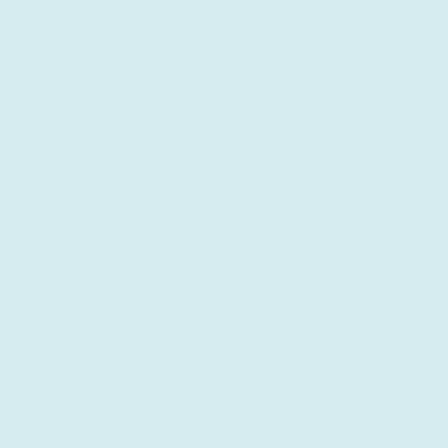with our toys with our cousin. We would always have singing and dishwashing. We would return back to the sidewalk and make his strong coffee in his spec the kitchen preparing dinner as my four other sibling would fill the coffee table full of appetizers, fruit cake liquorice. The teapot would never be empty long and we would in the living room with my Gram's fine Christmas Ch would be at least ten people there and my Gram wo carve the turkey. I would marvel at all the delicious buns" while my other brother would throw him down have my bowl of tossed salad mixed with croutons that for me. My plate would be heaping with mounds of mashed veggies, dark turkey meat, a little gravy, and I would After we would clear the table, drink tea, and enjoy loved the lemon so it was always a staple at the din and play and have our pictures taken on the steps t Then the night would wind down, my older siblings be getting ready for bed in our new Christmas pyjar quickly after a fulfilling and wonderful day. We would presents, laughter, decorations, Santa with his sleig